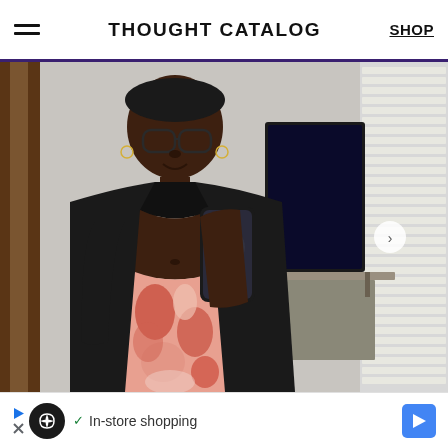THOUGHT CATALOG  SHOP
[Figure (photo): A person taking a mirror selfie wearing a black cardigan, black sports bra, and pink/red tie-dye patterned leggings, holding a phone, in a room with a TV and window blinds visible.]
In-store shopping